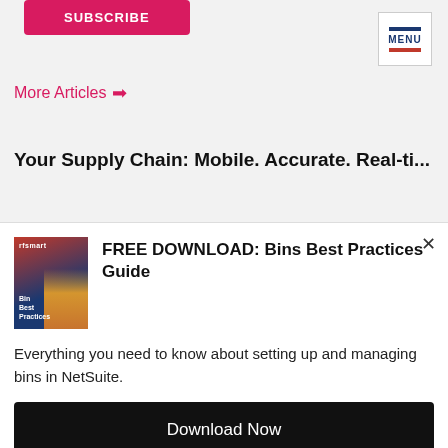[Figure (screenshot): Pink/magenta Subscribe button at top left]
[Figure (screenshot): Menu button with blue lines and red bottom line at top right]
More Articles →
Your Supply Chain: Mobile. Accurate. Real-ti...
[Figure (illustration): Book cover for Bins Best Practices guide showing warehouse workers]
FREE DOWNLOAD: Bins Best Practices Guide
Everything you need to know about setting up and managing bins in NetSuite.
Download Now